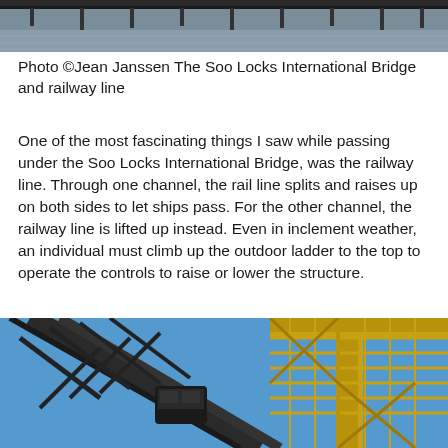[Figure (photo): Top portion of a photo showing the Soo Locks International Bridge over water, cropped at the bottom of the image.]
Photo ©Jean Janssen The Soo Locks International Bridge and railway line
One of the most fascinating things I saw while passing under the Soo Locks International Bridge, was the railway line. Through one channel, the rail line splits and raises up on both sides to let ships pass. For the other channel, the railway line is lifted up instead. Even in inclement weather, an individual must climb up the outdoor ladder to the top to operate the controls to raise or lower the structure.
[Figure (photo): Photo looking up at two large metal bridge/railway structures against a clear blue sky — one dark steel truss with a control cab, and one yellow-painted lift bridge structure.]